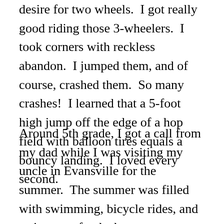desire for two wheels.  I got really good riding those 3-wheelers.  I took corners with reckless abandon.  I jumped them, and of course, crashed them.  So many crashes!  I learned that a 5-foot high jump off the edge of a hop field with balloon tires equals a bouncy landing.  I loved every second.
Around 5th grade, I got a call from my dad while I was visiting my uncle in Evansville for the summer.  The summer was filled with swimming, bicycle rides, and trying new foods that my mom would never have tried. My mom was a picky eater.  Dad called to tell me he bought me a Yamaha 125 dirt bike.  I was thrilled!  I asked him silly questions like what